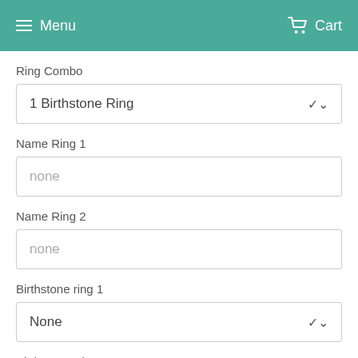Menu   Cart
Ring Combo
1 Birthstone Ring
Name Ring 1
none
Name Ring 2
none
Birthstone ring 1
None
Birthstone Ring 2